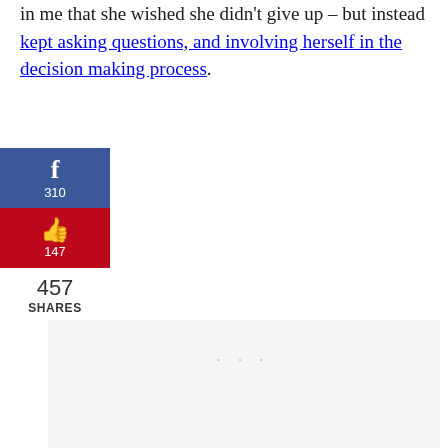in me that she wished she didn't give up – but instead kept asking questions, and involving herself in the decision making process.
[Figure (infographic): Social sharing buttons: Facebook (f) with count 310 in blue, Pinterest (p) with count 147 in red. Below: 457 SHARES total.]